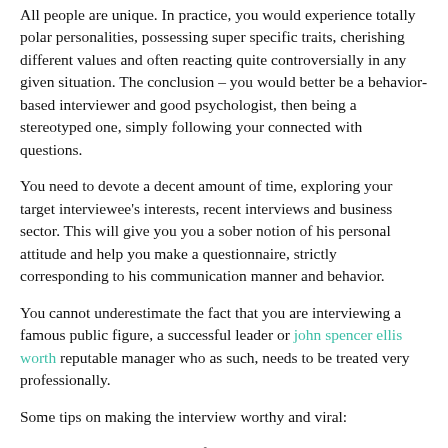All people are unique. In practice, you would experience totally polar personalities, possessing super specific traits, cherishing different values and often reacting quite controversially in any given situation. The conclusion – you would better be a behavior- based interviewer and good psychologist, then being a stereotyped one, simply following your connected with questions.
You need to devote a decent amount of time, exploring your target interviewee's interests, recent interviews and business sector. This will give you you a sober notion of his personal attitude and help you make a questionnaire, strictly corresponding to his communication manner and behavior.
You cannot underestimate the fact that you are interviewing a famous public figure, a successful leader or john spencer ellis worth reputable manager who as such, needs to be treated very professionally.
Some tips on making the interview worthy and viral:
Go into details with the specifics on the business you're about